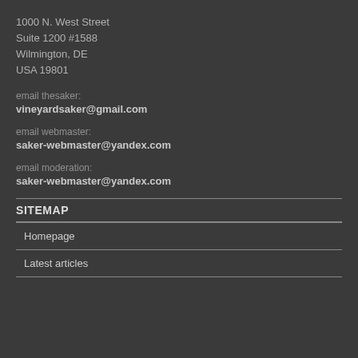1000 N. West Street
Suite 1200 #1588
Wilmington, DE
USA 19801
email thesaker:
vineyardsaker@gmail.com
email webmaster:
saker-webmaster@yandex.com
email moderation:
saker-webmaster@yandex.com
SITEMAP
Homepage
Latest articles